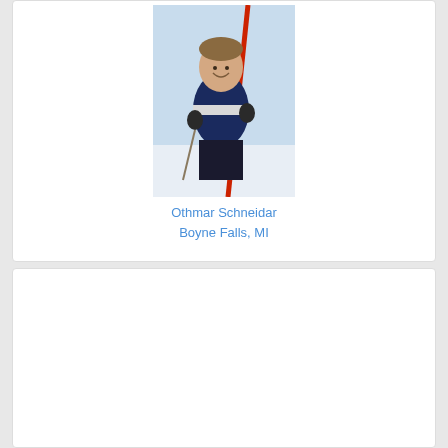[Figure (photo): Black and white/color vintage photo of Othmar Schneidar, a skier holding red skis, wearing a navy blue sweater with white stripe, standing outdoors in a snowy setting.]
Othmar Schneidar
Boyne Falls, MI